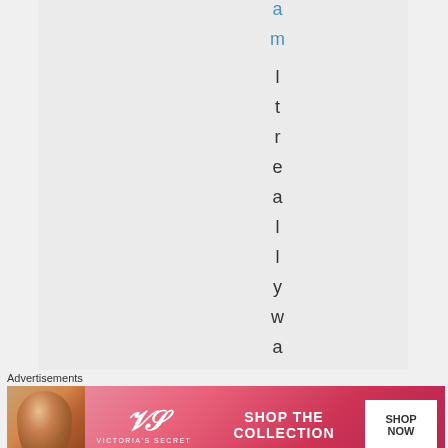am l t r e a l l y w a s
[Figure (advertisement): Victoria's Secret advertisement banner: 'SHOP THE COLLECTION' with SHOP NOW button, pink/red gradient background, woman photo on left]
Advertisements